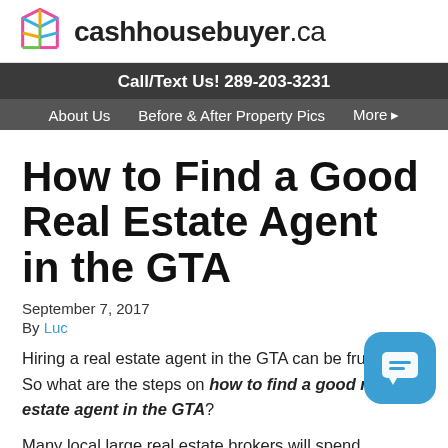cashhousebuyer.ca
Call/Text Us! 289-203-3231
About Us   Before & After Property Pics   More ▸
How to Find a Good Real Estate Agent in the GTA
September 7, 2017
By Luc
Hiring a real estate agent in the GTA can be frustrating. So what are the steps on how to find a good real estate agent in the GTA?
Many local large real estate brokers will spend thousands of dollars each month to ensure that their